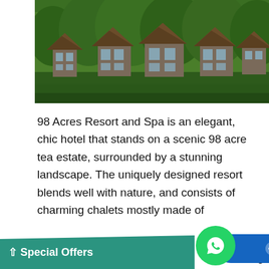[Figure (photo): Aerial view of 98 Acres Resort showing multiple thatched-roof chalets nestled among lush green trees and tropical forest]
98 Acres Resort and Spa is an elegant, chic hotel that stands on a scenic 98 acre tea estate, surrounded by a stunning landscape. The uniquely designed resort blends well with nature, and consists of charming chalets mostly made of recyclable substance. Discarded railway sleepers are put to good use in the making of decks and walls at the resort. Rough, hewn granite lend simple elegance to the floors of chalets adorned with thatched roofs of 'Illuk' straw that adds to their rustic beauty. The exquisite country side, breathtaking views and exciting ...no...a hotels in the region.